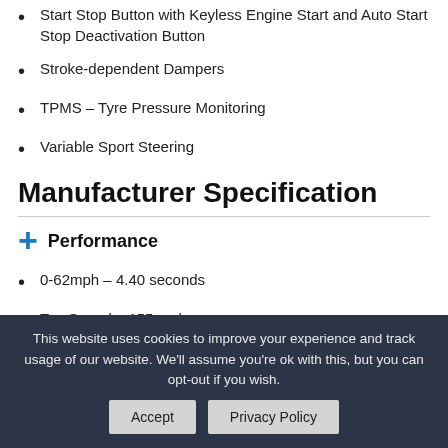Start Stop Button with Keyless Engine Start and Auto Start Stop Deactivation Button
Stroke-dependent Dampers
TPMS – Tyre Pressure Monitoring
Variable Sport Steering
Manufacturer Specification
+ Performance
0-62mph – 4.40 seconds
Top Speed – 155 mph
Cylinders – 6
Val... (partially visible)
This website uses cookies to improve your experience and track usage of our website. We'll assume you're ok with this, but you can opt-out if you wish.